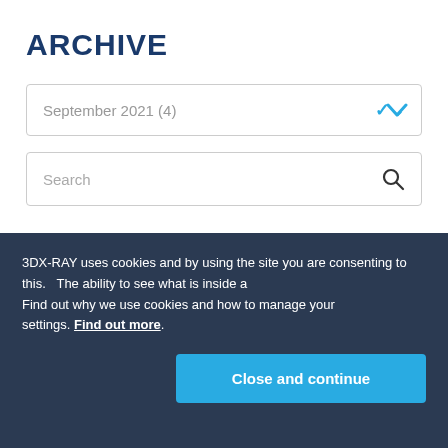ARCHIVE
September 2021 (4)
Search
EOD X-RAY GENERATORS AND SECURITY SYSTEMS BOOST SAFETY
Certanly, EOD X-ray generators and security systems... The ability to see what is inside a ... city and special forces rely on them to make quick decision... They are key to neutralising... exposing hoax threats. QuickScan IED / (...)
3DX-RAY uses cookies and by using the site you are consenting to this.
Find out why we use cookies and how to manage your settings. Find out more.
Close and continue